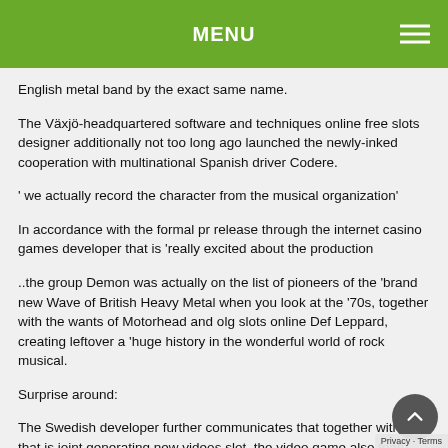MENU
English metal band by the exact same name.
The Växjö-headquartered software and techniques online free slots designer additionally not too long ago launched the newly-inked cooperation with multinational Spanish driver Codere.
' we actually record the character from the musical organization'
In accordance with the formal pr release through the internet casino games developer that is 'really excited about the production
..the group Demon was actually on the list of pioneers of the 'brand new Wave of British Heavy Metal when you look at the '70s, together with the wants of Motorhead and olg slots online Def Leppard, creating leftover a 'huge history in the wonderful world of rock musical.
Surprise around:
The Swedish developer further communicates that together with the that is joint generating new videos slot, the video game also features song, Devil Rides Out, an exclusive track, which alone features be included double be not make and the position among thing the since